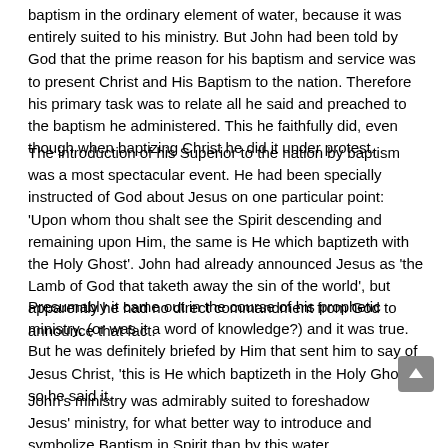baptism in the ordinary element of water, because it was entirely suited to his ministry. But John had been told by God that the prime reason for his baptism and service was to present Christ and His Baptism to the nation. Therefore his primary task was to relate all he said and preached to the baptism he administered. This he faithfully did, even though when baptizing Christ he did it under protest.
The introduction of his Superior to the nation by baptism was a most spectacular event. He had been specially instructed of God about Jesus on one particular point: 'Upon whom thou shalt see the Spirit descending and remaining upon Him, the same is He which baptizeth with the Holy Ghost'. John had already announced Jesus as 'the Lamb of God that taketh away the sin of the world', but apparently he had no direct commandment from God to announce that fact.
Presumably it came out in the course of his prophetic ministry, (or was it a word of knowledge?) and it was true. But he was definitely briefed by Him that sent him to say of Jesus Christ, 'this is He which baptizeth in the Holy Ghost', so he said it.
John's ministry was admirably suited to foreshadow Jesus' ministry, for what better way to introduce and symbolize Baptism in Spirit than by this water baptism? Under John's ministry, baptism became the focal point in a man's experience; indisputably he made it obligatory to the salvation he preached. It was an entirely new move by God. Without doubt, if the prophet was to be believed, forgiveness was made dependent upon